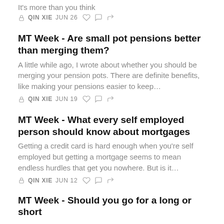It's more than you think
🔒 QIN XIE   JUN 26   ♡   ○   ↪
MT Week - Are small pot pensions better than merging them?
A little while ago, I wrote about whether you should be merging your pension pots. There are definite benefits, like making your pensions easier to keep…
🔒 QIN XIE   JUN 19   ♡   ○   ↪
MT Week - What every self employed person should know about mortgages
Getting a credit card is hard enough when you're self employed but getting a mortgage seems to mean endless hurdles that get you nowhere. But is it…
🔒 QIN XIE   JUN 12   ♡   ○   ↪
MT Week - Should you go for a long or short